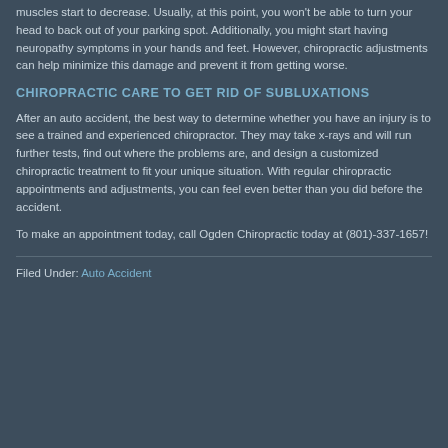muscles start to decrease. Usually, at this point, you won't be able to turn your head to back out of your parking spot. Additionally, you might start having neuropathy symptoms in your hands and feet. However, chiropractic adjustments can help minimize this damage and prevent it from getting worse.
CHIROPRACTIC CARE TO GET RID OF SUBLUXATIONS
After an auto accident, the best way to determine whether you have an injury is to see a trained and experienced chiropractor. They may take x-rays and will run further tests, find out where the problems are, and design a customized chiropractic treatment to fit your unique situation. With regular chiropractic appointments and adjustments, you can feel even better than you did before the accident.
To make an appointment today, call Ogden Chiropractic today at (801)-337-1657!
Filed Under: Auto Accident